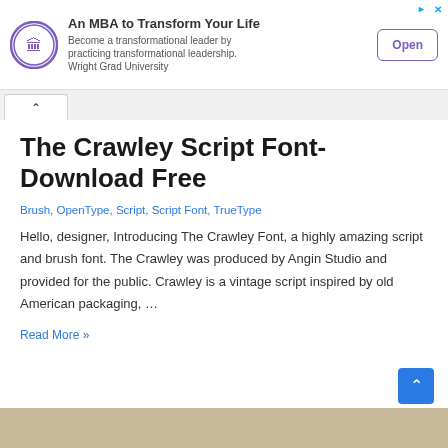[Figure (other): Advertisement banner: Wright Grad University logo (purple circle with building icon), title 'An MBA to Transform Your Life', subtitle 'Become a transformational leader by practicing transformational leadership. Wright Grad University', and an 'Open' button with purple border.]
The Crawley Script Font- Download Free
Brush, OpenType, Script, Script Font, TrueType
Hello, designer, Introducing The Crawley Font, a highly amazing script and brush font. The Crawley was produced by Angin Studio and provided for the public. Crawley is a vintage script inspired by old American packaging, …
Read More »